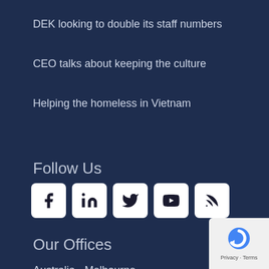DEK looking to double its staff numbers
CEO talks about keeping the culture
Helping the homeless in Vietnam
Follow Us
[Figure (illustration): Social media icons: Facebook, LinkedIn, Twitter, YouTube, RSS feed — each in a white rounded square]
Our Offices
Australia - Melbourne
Italy - Rome
Sweden - Stockholm
Vietnam - Ho Chi Minh City
US California - San Jose